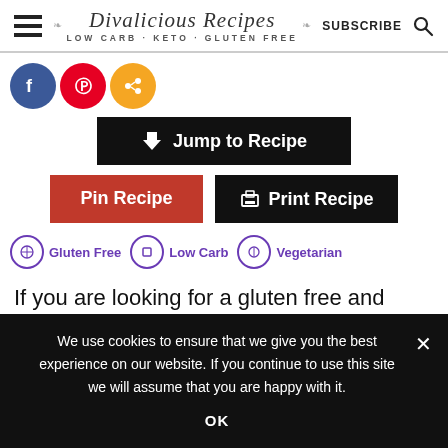Divalicious Recipes LOW CARB · KETO · GLUTEN FREE | SUBSCRIBE
[Figure (logo): Divalicious Recipes logo with wheat stalks and tagline LOW CARB - KETO - GLUTEN FREE]
[Figure (infographic): Social share buttons: Facebook (blue), Pinterest (red), Share (orange)]
Jump to Recipe
Pin Recipe   Print Recipe
Gluten Free   Low Carb   Vegetarian
If you are looking for a gluten free and
We use cookies to ensure that we give you the best experience on our website. If you continue to use this site we will assume that you are happy with it.
OK